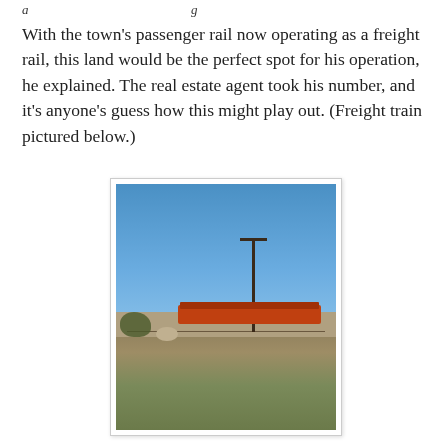...
With the town's passenger rail now operating as a freight rail, this land would be the perfect spot for his operation, he explained. The real estate agent took his number, and it's anyone's guess how this might play out. (Freight train pictured below.)
[Figure (photo): A freight train with orange/red locomotive passing through a flat rural landscape. A tall utility pole is visible in the right-center of the image. The sky is clear blue. The foreground shows scrubby desert ground with sparse vegetation and a wire fence.]